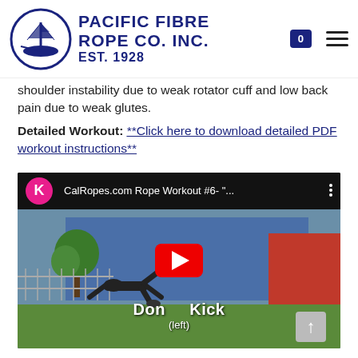Pacific Fibre Rope Co. Inc. Est. 1928
shoulder instability due to weak rotator cuff and low back pain due to weak glutes.
Detailed Workout: **Click here to download detailed PDF workout instructions**
[Figure (screenshot): YouTube video thumbnail showing 'CalRopes.com Rope Workout #6-"...' with a play button overlay. The scene shows a person doing a donkey kick exercise on grass in front of a blue building and red building. Text overlay reads 'Donkey Kick (left)'.]